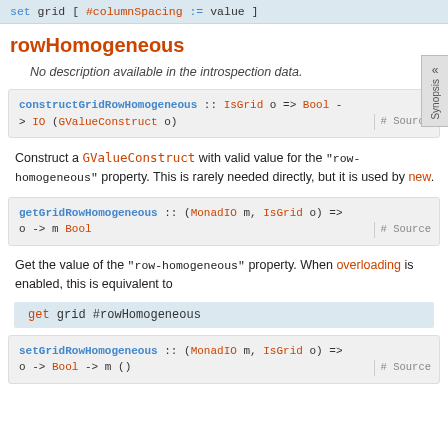set grid [ #columnSpacing := value ]
rowHomogeneous
No description available in the introspection data.
constructGridRowHomogeneous :: IsGrid o => Bool -> IO (GValueConstruct o)  # Source
Construct a GValueConstruct with valid value for the “row-homogeneous” property. This is rarely needed directly, but it is used by new.
getGridRowHomogeneous :: (MonadIO m, IsGrid o) => o -> m Bool  # Source
Get the value of the “row-homogeneous” property. When overloading is enabled, this is equivalent to
get grid #rowHomogeneous
setGridRowHomogeneous :: (MonadIO m, IsGrid o) => o -> Bool -> m ()  # Source